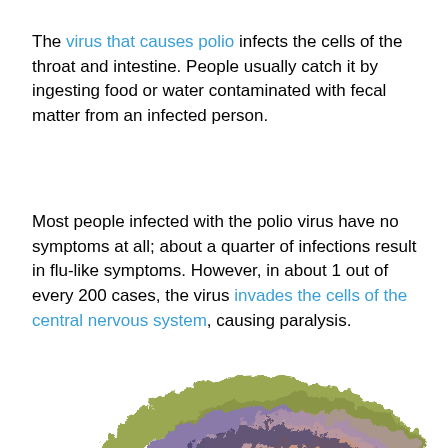The virus that causes polio infects the cells of the throat and intestine. People usually catch it by ingesting food or water contaminated with fecal matter from an infected person.
Most people infected with the polio virus have no symptoms at all; about a quarter of infections result in flu-like symptoms. However, in about 1 out of every 200 cases, the virus invades the cells of the central nervous system, causing paralysis.
[Figure (photo): 3D molecular model of the poliovirus, showing a bumpy spherical structure with olive green, salmon/peach, mauve/pink, and dark purple/navy protein subunits.]